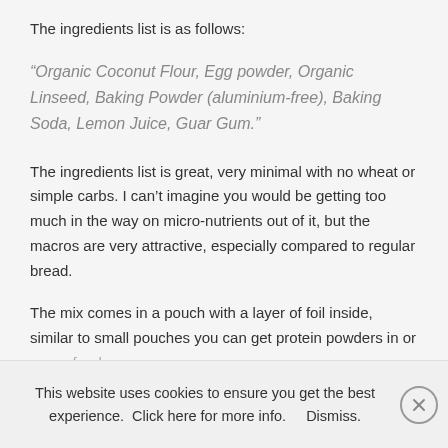The ingredients list is as follows:
“Organic Coconut Flour, Egg powder, Organic Linseed, Baking Powder (aluminium-free), Baking Soda, Lemon Juice, Guar Gum.”
The ingredients list is great, very minimal with no wheat or simple carbs. I can’t imagine you would be getting too much in the way on micro-nutrients out of it, but the macros are very attractive, especially compared to regular bread.
The mix comes in a pouch with a layer of foil inside, similar to small pouches you can get protein powders in or green foods.
This website uses cookies to ensure you get the best experience.  Click here for more info.      Dismiss.